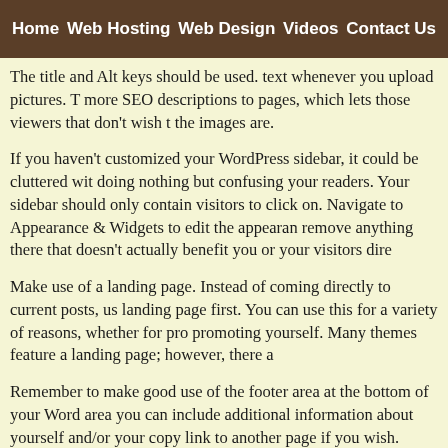Home | Web Hosting | Web Design | Videos | Contact Us
The title and Alt keys should be used. text whenever you upload pictures. T more SEO descriptions to pages, which lets those viewers that don't wish t the images are.
If you haven't customized your WordPress sidebar, it could be cluttered wit doing nothing but confusing your readers. Your sidebar should only contain visitors to click on. Navigate to Appearance & Widgets to edit the appearan remove anything there that doesn't actually benefit you or your visitors dire
Make use of a landing page. Instead of coming directly to current posts, us landing page first. You can use this for a variety of reasons, whether for pro promoting yourself. Many themes feature a landing page; however, there a
Remember to make good use of the footer area at the bottom of your Wor area you can include additional information about yourself and/or your cop link to another page if you wish. Different themes give you more use of this themes carefully to maximize the value of your page footers.
There are several factors in making a great blog. Understanding what goo really area is what makes for a standout blog. Utilize these suggestions to outstanding. Now you can use this advice to boost the interest of others